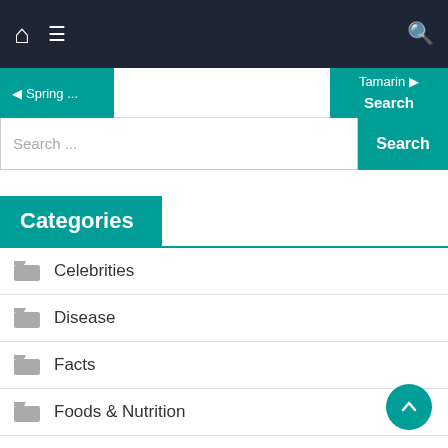[Figure (screenshot): Website navigation bar with home icon, hamburger menu, and search icon on dark background]
[Figure (screenshot): Pagination bar with Spring... on left (teal) and Tamarin on right (teal), white center]
[Figure (screenshot): Search bar with text input and teal Search button]
Categories
Celebrities
Disease
Facts
Foods & Nutrition
Fruits
Health Benefits